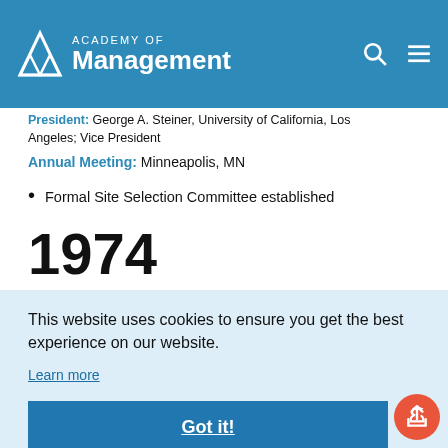Academy of Management — navigation bar with logo, search and menu icons
President: George A. Steiner, University of California, Los Angeles; Vice President
Annual Meeting: Minneapolis, MN
Formal Site Selection Committee established
1974
OM's
This website uses cookies to ensure you get the best experience on our website.
Learn more
Got it!